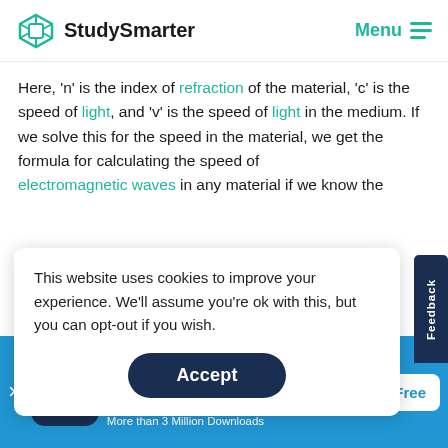StudySmarter | Menu
Here, 'n' is the index of refraction of the material, 'c' is the speed of light, and 'v' is the speed of light in the medium. If we solve this for the speed in the material, we get the formula for calculating the speed of electromagnetic waves in any material if we know the
This website uses cookies to improve your experience. We'll assume you're ok with this, but you can opt-out if you wish.
Accept
materials, the refractive index, and the material's average
[Figure (infographic): StudySmarter app download banner with logo, app name, star rating (4.8, +11k Ratings), More than 3 Million Downloads, and Free button]